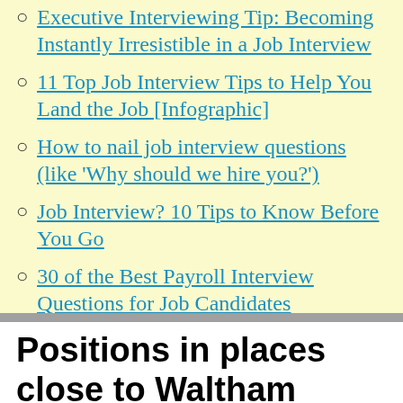Executive Interviewing Tip: Becoming Instantly Irresistible in a Job Interview
11 Top Job Interview Tips to Help You Land the Job [Infographic]
How to nail job interview questions (like 'Why should we hire you?')
Job Interview? 10 Tips to Know Before You Go
30 of the Best Payroll Interview Questions for Job Candidates
Positions in places close to Waltham Cross